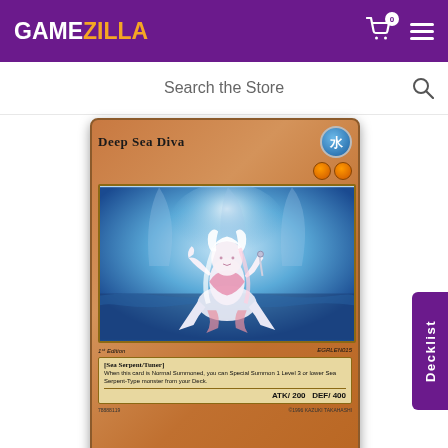GAMEZILLA
Search the Store
[Figure (illustration): Yu-Gi-Oh trading card 'Deep Sea Diva' - a Water attribute, Level 2 Tuner monster with Sea Serpent type. Card shows an anime-style mermaid/diva character in blue underwater setting. ATK/200 DEF/400. 1st Edition, EGRLEN015. [SEA SERPENT/TUNER] When this card is Normal Summoned, you can Special Summon 1 Level 3 or lower Sea Serpent-Type monster from your Deck.]
Decklist